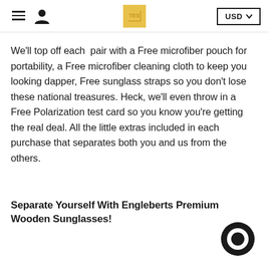≡ [user icon] [logo] USD ∨
We'll top off each pair with a Free microfiber pouch for portability, a Free microfiber cleaning cloth to keep you looking dapper, Free sunglass straps so you don't lose these national treasures. Heck, we'll even throw in a Free Polarization test card so you know you're getting the real deal. All the little extras included in each purchase that separates both you and us from the others.
Separate Yourself With Engleberts Premium Wooden Sunglasses!
[Figure (other): Chat widget icon — dark circular speech bubble button in bottom right corner]